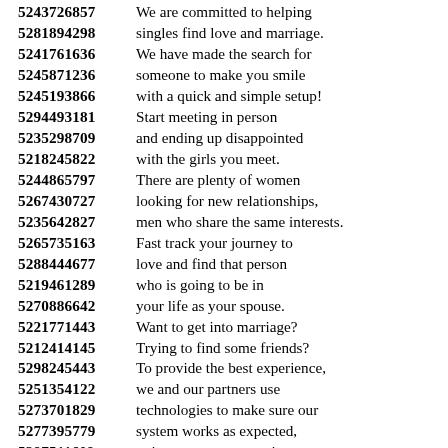5243726857 We are committed to helping
5281894298 singles find love and marriage.
5241761636 We have made the search for
5245871236 someone to make you smile
5245193866 with a quick and simple setup!
5294493181 Start meeting in person
5235298709 and ending up disappointed
5218245822 with the girls you meet.
5244865797 There are plenty of women
5267430727 looking for new relationships,
5235642827 men who share the same interests.
5265735163 Fast track your journey to
5288444677 love and find that person
5219461289 who is going to be in
5270886642 your life as your spouse.
5221771443 Want to get into marriage?
5212414145 Trying to find some friends?
5298245443 To provide the best experience,
5251354122 we and our partners use
5273701829 technologies to make sure our
5277395779 system works as expected,
5297511609 to improve your experience
5236740807 and direct marketing efforts
5257805792 and analyze site usage.
5280493197 Single women looking for men